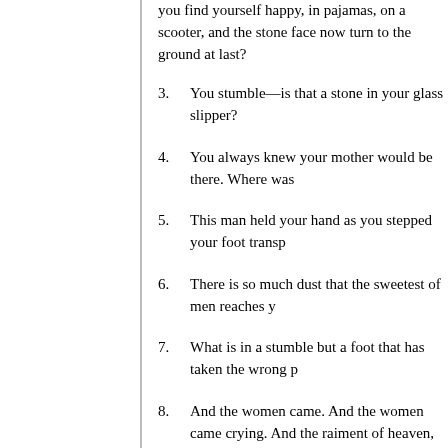you find yourself happy, in pajamas, on a scooter, and the stone face now turn to the ground at last?
3.  You stumble—is that a stone in your glass slipper?
4.  You always knew your mother would be there. Where was
5.  This man held your hand as you stepped your foot transp
6.  There is so much dust that the sweetest of men reaches y
7.  What is in a stumble but a foot that has taken the wrong p
8.  And the women came. And the women came crying. And the raiment of heaven, the colors of the splendor of hats and know you won't believe me but they were. Their tears were be
9.  Don't fall again. There is no one now to pick you up.
10.  And the pretty things they will be taken. And you will not angels. And everyone will see you: what you are. And everyo
11.  What else would you have me do? Is this for them or for